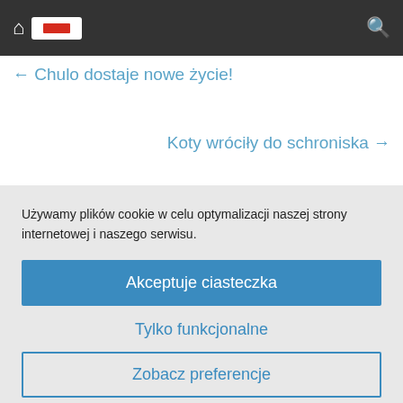Navigation bar with home icon, Polish flag button, and search icon
← Chulo dostaje nowe życie!
Koty wróciły do schroniska →
Używamy plików cookie w celu optymalizacji naszej strony internetowej i naszego serwisu.
Akceptuje ciasteczka
Tylko funkcjonalne
Zobacz preferencje